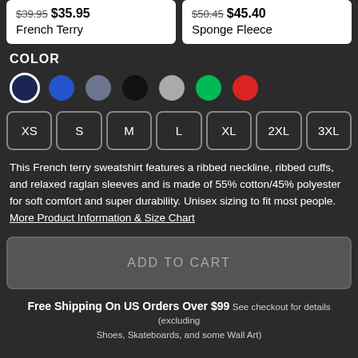$39.95 $35.95 French Terry
$50.45 $45.40 Sponge Fleece
COLOR
[Figure (other): Seven color swatches: navy (selected/outlined), blue, slate, black, gray, green, red]
[Figure (other): Size selector buttons: XS, S, M, L, XL, 2XL, 3XL]
This French terry sweatshirt features a ribbed neckline, ribbed cuffs, and relaxed raglan sleeves and is made of 55% cotton/45% polyester for soft comfort and super durability. Unisex sizing to fit most people. More Product Information & Size Chart
ADD TO CART
Free Shipping On US Orders Over $99 See checkout for details (excluding Shoes, Skateboards, and some Wall Art)